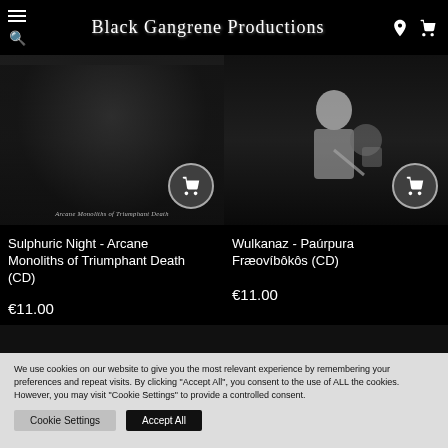Black Gangrene Productions
[Figure (photo): Album cover for Sulphuric Night - Arcane Monoliths of Triumphant Death (CD), dark grayscale artwork]
Sulphuric Night - Arcane Monoliths of Triumphant Death (CD)
€11.00
[Figure (photo): Album cover for Wulkanaz - Paúrpura Fræovíbôkôs (CD), dark artwork with figure]
Wulkanaz - Paúrpura Fræovíbôkôs (CD)
€11.00
We use cookies on our website to give you the most relevant experience by remembering your preferences and repeat visits. By clicking "Accept All", you consent to the use of ALL the cookies. However, you may visit "Cookie Settings" to provide a controlled consent.